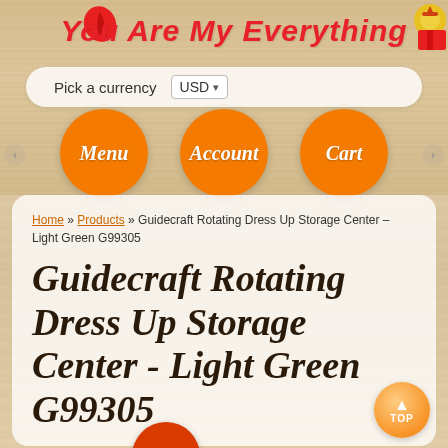You Are My Everything
Pick a currency USD
[Figure (illustration): Three orange circle navigation buttons labeled Menu, Account, Cart]
Home » Products » Guidecraft Rotating Dress Up Storage Center – Light Green G99305
Guidecraft Rotating Dress Up Storage Center - Light Green G99305
[Figure (illustration): Red circular SALE badge]
[Figure (illustration): Orange circular TOP button with up arrow]